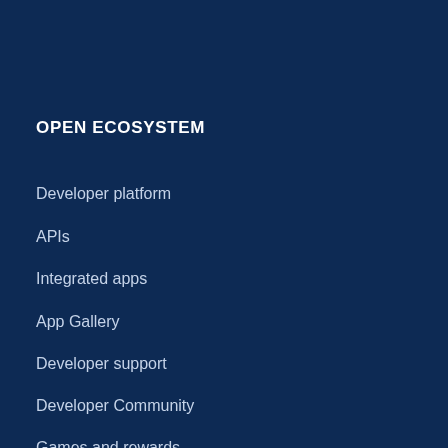OPEN ECOSYSTEM
Developer platform
APIs
Integrated apps
App Gallery
Developer support
Developer Community
Games and rewards
RESOURCES
Resource center